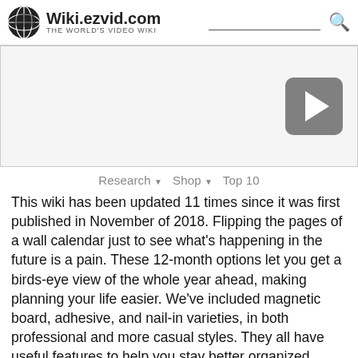Wiki.ezvid.com — The World's Video Wiki
[Figure (screenshot): Video player area with play button on the right side]
Research ▼  Shop ▼  Top 10
This wiki has been updated 11 times since it was first published in November of 2018. Flipping the pages of a wall calendar just to see what's happening in the future is a pain. These 12-month options let you get a birds-eye view of the whole year ahead, making planning your life easier. We've included magnetic board, adhesive, and nail-in varieties, in both professional and more casual styles. They all have useful features to help you stay better organized. When users buy our independently chosen editorial